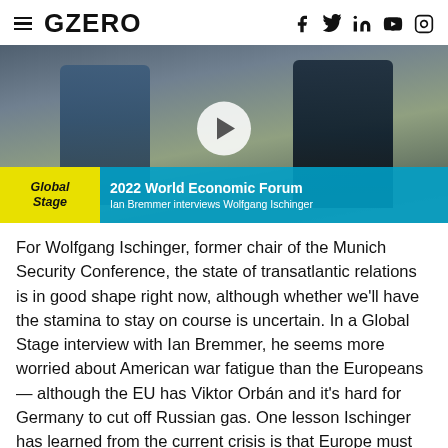GZERO
[Figure (screenshot): Video thumbnail showing two men in suits talking outdoors near metal barriers. A white circular play button is visible in the center. A yellow 'Global Stage' badge and a blue banner reading '2022 World Economic Forum — Ian Bremmer interviews Wolfgang Ischinger' are overlaid at the bottom.]
For Wolfgang Ischinger, former chair of the Munich Security Conference, the state of transatlantic relations is in good shape right now, although whether we'll have the stamina to stay on course is uncertain. In a Global Stage interview with Ian Bremmer, he seems more worried about American war fatigue than the Europeans — although the EU has Viktor Orbán and it's hard for Germany to cut off Russian gas. One lesson Ischinger has learned from the current crisis is that Europe must have America's back on China, especially with Taiwan. And he calls German